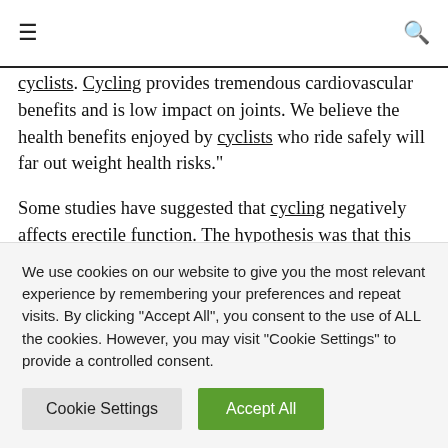≡ [hamburger menu] | [search icon]
cyclists. Cycling provides tremendous cardiovascular benefits and is low impact on joints. We believe the health benefits enjoyed by cyclists who ride safely will far out weight health risks."
Some studies have suggested that cycling negatively affects erectile function. The hypothesis was that this negative impact is caused by the prolonged perineal pressure and micro-trauma during cycling. However, these studies lacked the use of validated measures or
We use cookies on our website to give you the most relevant experience by remembering your preferences and repeat visits. By clicking "Accept All", you consent to the use of ALL the cookies. However, you may visit "Cookie Settings" to provide a controlled consent.
Cookie Settings
Accept All